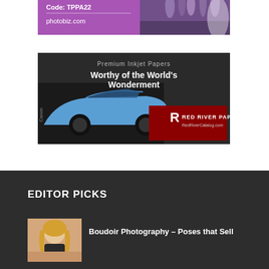[Figure (advertisement): Purple/violet ad banner with 'Code: TPPA22' and 'photobiz.com' text on left, wedding/floral photo on right]
[Figure (advertisement): Red River Paper inkjet paper ad with text 'Premium Inkjet Papers' and 'Worthy of the World's Wonderment', showing a classic blue car print with Canon printer, dark red logo box with RED RIVER PAPER branding and RedRiverCatalog.com]
EDITOR PICKS
[Figure (photo): Thumbnail photo of a blonde woman for Boudoir Photography article]
Boudoir Photography – Poses that Sell